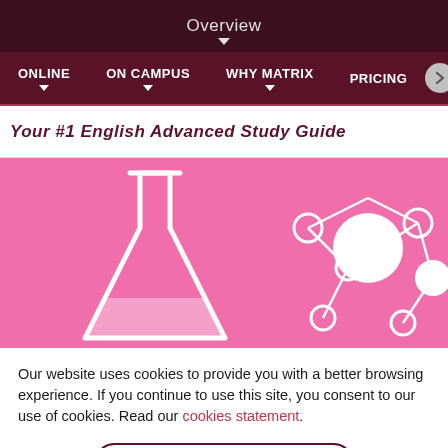Overview
ONLINE  ON CAMPUS  WHY MATRIX  PRICING
Your #1 English Advanced Study Guide
[Figure (illustration): Pink banner with white outline of an Erlenmeyer flask on the left and white molecule/atom diagram on the right, on a hot pink background.]
Our website uses cookies to provide you with a better browsing experience. If you continue to use this site, you consent to our use of cookies. Read our cookies statement.
OK, I UNDERSTAND